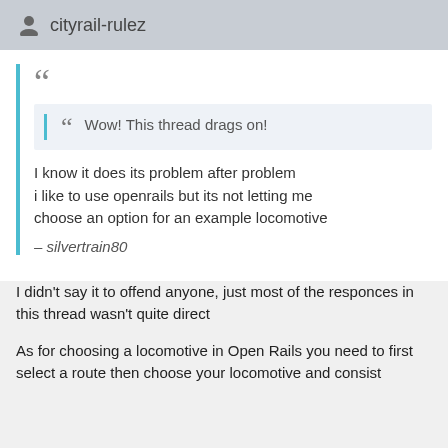cityrail-rulez
Wow! This thread drags on!
I know it does its problem after problem i like to use openrails but its not letting me choose an option for an example locomotive
– silvertrain80
I didn't say it to offend anyone, just most of the responces in this thread wasn't quite direct
As for choosing a locomotive in Open Rails you need to first select a route then choose your locomotive and consist